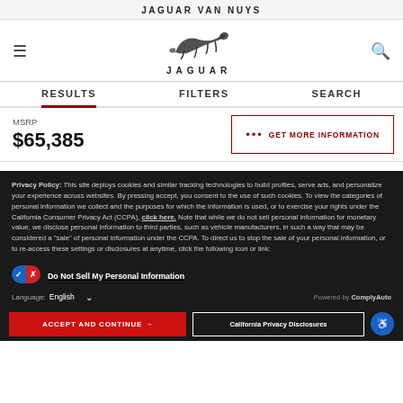JAGUAR VAN NUYS
[Figure (logo): Jaguar leaping cat logo with JAGUAR wordmark]
RESULTS   FILTERS   SEARCH
MSRP $65,385
GET MORE INFORMATION
Privacy Policy: This site deploys cookies and similar tracking technologies to build profiles, serve ads, and personalize your experience across websites. By pressing accept, you consent to the use of such cookies. To view the categories of personal information we collect and the purposes for which the information is used, or to exercise your rights under the California Consumer Privacy Act (CCPA), click here. Note that while we do not sell personal information for monetary value, we disclose personal information to third parties, such as vehicle manufacturers, in such a way that may be considered a "sale" of personal information under the CCPA. To direct us to stop the sale of your personal information, or to re-access these settings or disclosures at anytime, click the following icon or link:
Do Not Sell My Personal Information
Language: English
Powered by ComplyAuto
ACCEPT AND CONTINUE →
California Privacy Disclosures